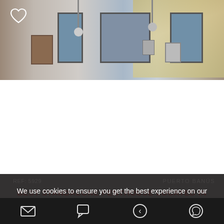[Figure (photo): Interior photo of a property showing windows, wall decor, pendant lights and wooden ceiling details. Heart/favorite icon in top left corner.]
REF: 5929
PUERTO BANÚS
BEST STANDALONE PENTHOUSE LOCATED IN THE HEART OF PUERTO BANUS
We use cookies to ensure you get the best experience on our website
ACCEPT COOKIES
MORE INFO